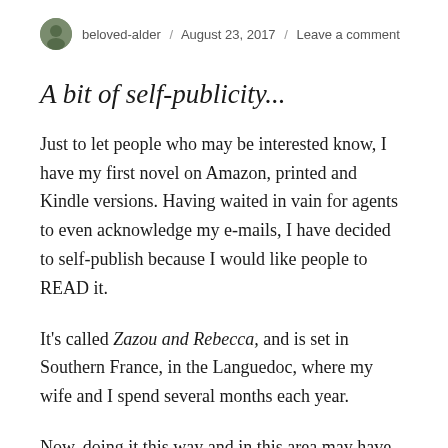beloved-alder / August 23, 2017 / Leave a comment
A bit of self-publicity...
Just to let people who may be interested know, I have my first novel on Amazon, printed and Kindle versions. Having waited in vain for agents to even acknowledge my e-mails, I have decided to self-publish because I would like people to READ it.
It's called Zazou and Rebecca, and is set in Southern France, in the Languedoc, where my wife and I spend several months each year.
Now, doing it this way and in this area may have completely gone against blogging protocol, and if